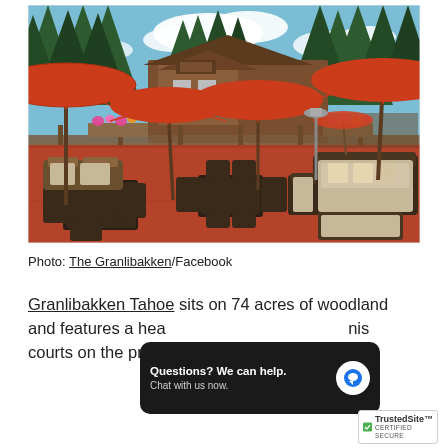[Figure (photo): Outdoor patio of Granlibakken Tahoe resort with red/orange umbrellas, wicker furniture, red-stained deck, surrounded by tall pine trees and a wooden lodge building under a partly cloudy blue sky.]
Photo: The Granlibakken/Facebook
Granlibakken Tahoe sits on 74 acres of woodland and features a heated pool, hot tub, and tennis courts on the property.